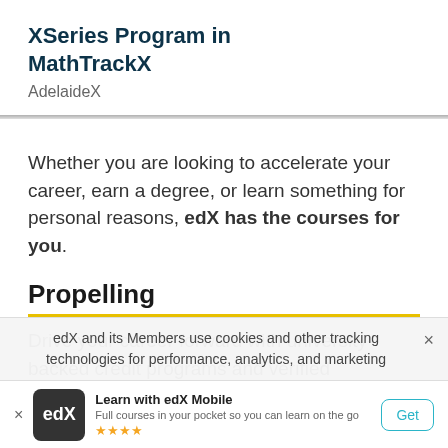XSeries Program in MathTrackX
AdelaideX
Whether you are looking to accelerate your career, earn a degree, or learn something for personal reasons, edX has the courses for you.
Propelling
Drive your career forward with university-backed credit programs and verified certificates
edX and its Members use cookies and other tracking technologies for performance, analytics, and marketing
Learn with edX Mobile
Full courses in your pocket so you can learn on the go